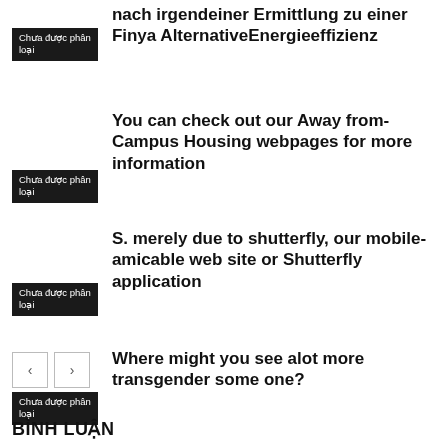nach irgendeiner Ermittlung zu einer Finya AlternativeEnergieeffizienz
Chưa được phân loại
You can check out our Away from-Campus Housing webpages for more information
Chưa được phân loại
S. merely due to shutterfly, our mobile-amicable web site or Shutterfly application
Chưa được phân loại
Where might you see alot more transgender some one?
Chưa được phân loại
BÌNH LUẬN